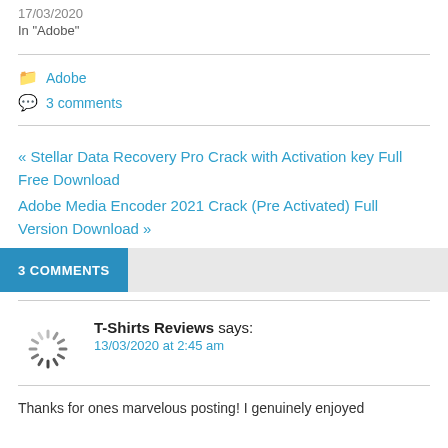17/03/2020
In "Adobe"
Adobe
3 comments
« Stellar Data Recovery Pro Crack with Activation key Full Free Download
Adobe Media Encoder 2021 Crack (Pre Activated) Full Version Download »
3 COMMENTS
T-Shirts Reviews says:
13/03/2020 at 2:45 am
Thanks for ones marvelous posting! I genuinely enjoyed